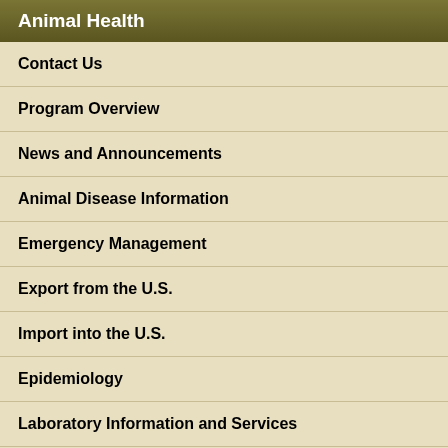Animal Health
Contact Us
Program Overview
News and Announcements
Animal Disease Information
Emergency Management
Export from the U.S.
Import into the U.S.
Epidemiology
Laboratory Information and Services
Monitoring and Surveillance